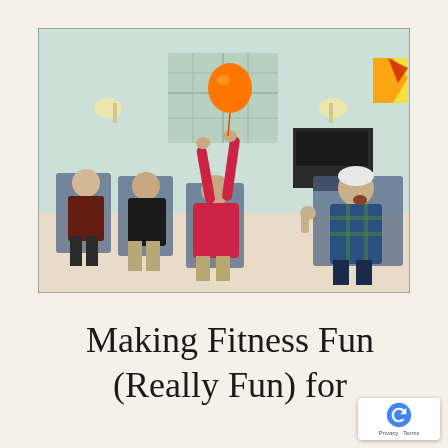[Figure (photo): Elderly people sitting in chairs in a circle, engaged in a balloon exercise activity in a light-colored room. A woman in a pink top is batting an orange balloon upward with both hands raised. Other participants are seated and watching or participating. The room has wall sconces, a large window, a piano in the background, and a colorful artwork on the right wall.]
Making Fitness Fun (Really Fun) for